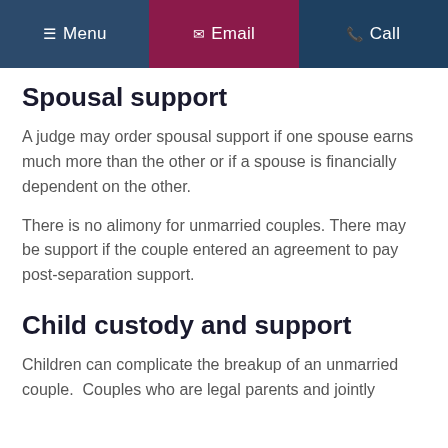Menu  Email  Call
Spousal support
A judge may order spousal support if one spouse earns much more than the other or if a spouse is financially dependent on the other.
There is no alimony for unmarried couples. There may be support if the couple entered an agreement to pay post-separation support.
Child custody and support
Children can complicate the breakup of an unmarried couple.  Couples who are legal parents and jointly